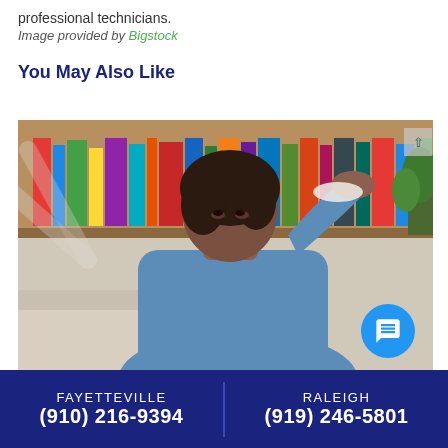professional technicians.
Image provided by Bigstock
You May Also Like
[Figure (photo): Woman sitting on couch holding cloth to forehead, looking up, with bookshelf in background, fan visible to left]
FAYETTEVILLE (910) 216-9394 | RALEIGH (919) 246-5801